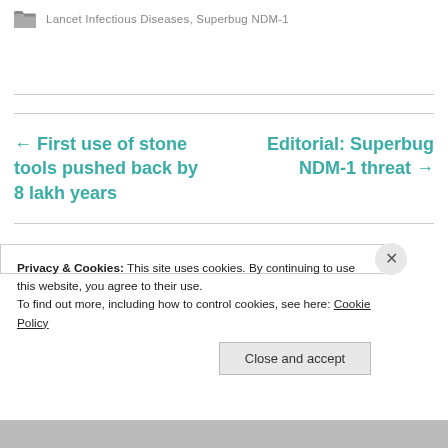Lancet Infectious Diseases, Superbug NDM-1
← First use of stone tools pushed back by 8 lakh years
Editorial: Superbug NDM-1 threat →
Privacy & Cookies: This site uses cookies. By continuing to use this website, you agree to their use.
To find out more, including how to control cookies, see here: Cookie Policy
Close and accept